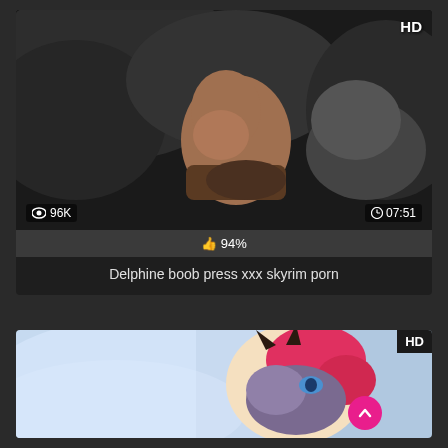[Figure (screenshot): Video thumbnail showing 3D animated scene, dark rocky environment, with HD badge top-right, view count 96K bottom-left, duration 07:51 bottom-right]
94%
Delphine boob press xxx skyrim porn
[Figure (screenshot): Second video thumbnail showing colorful 3D animated character with horns and white hair, with HD badge and scroll-to-top button]